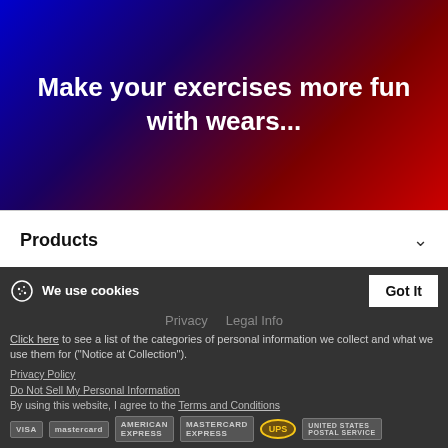Make your exercises more fun with wears...
Products
Shop
Service
Contact
We use cookies
Privacy   Legal Info
Click here to see a list of the categories of personal information we collect and what we use them for ("Notice at Collection").
Privacy Policy
Do Not Sell My Personal Information
By using this website, I agree to the Terms and Conditions